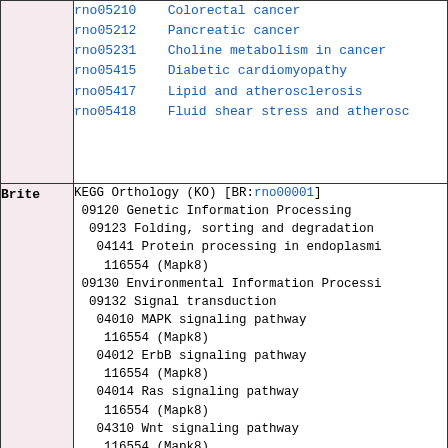| Category | Content |
| --- | --- |
|  | rno05210  Colorectal cancer
rno05212  Pancreatic cancer
rno05231  Choline metabolism in cancer
rno05415  Diabetic cardiomyopathy
rno05417  Lipid and atherosclerosis
rno05418  Fluid shear stress and atherosc |
| Brite | KEGG Orthology (KO) [BR:rno00001]
 09120 Genetic Information Processing
  09123 Folding, sorting and degradation
   04141 Protein processing in endoplasmi
    116554 (Mapk8)
 09130 Environmental Information Processi
  09132 Signal transduction
   04010 MAPK signaling pathway
    116554 (Mapk8)
   04012 ErbB signaling pathway
    116554 (Mapk8)
   04014 Ras signaling pathway
    116554 (Mapk8)
   04310 Wnt signaling pathway
    116554 (Mapk8)
   04668 TNF signaling pathway
    116554 (Mapk8)
   04068 FoxO signaling pathway
    116554 (Mapk8)
   04071 Sphingolipid signaling pathway
    116554 (Mapk8) |